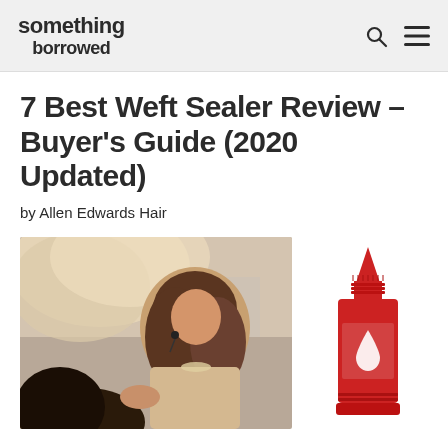something borrowed
7 Best Weft Sealer Review – Buyer's Guide (2020 Updated)
by Allen Edwards Hair
[Figure (photo): A hairstylist working on a client's hair at what appears to be a salon or hair event, with long wavy hair visible in the background]
[Figure (illustration): A red glue/sealer bottle icon with a pointed tip and droplet symbol on the front]